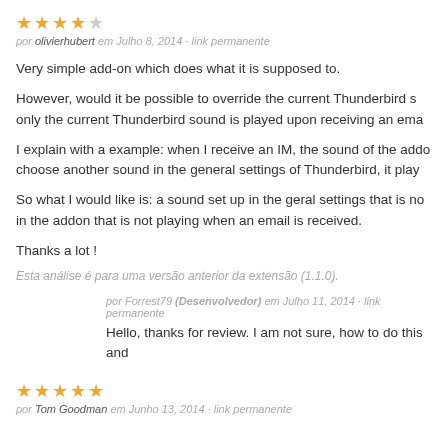★★★★☆
por olivierhubert em Julho 8, 2014 · link permanente
Very simple add-on which does what it is supposed to.
However, would it be possible to override the current Thunderbird s only the current Thunderbird sound is played upon receiving an ema
I explain with a example: when I receive an IM, the sound of the addo choose another sound in the general settings of Thunderbird, it play
So what I would like is: a sound set up in the geral settings that is no in the addon that is not playing when an email is received.
Thanks a lot !
Esta análise é para uma versão anterior da extensão (1.1.0).
por Forrest79 (Desenvolvedor) em Julho 11, 2014 · link permanente
Hello, thanks for review. I am not sure, how to do this and
★★★★★
por Tom Goodman em Junho 13, 2014 · link permanente